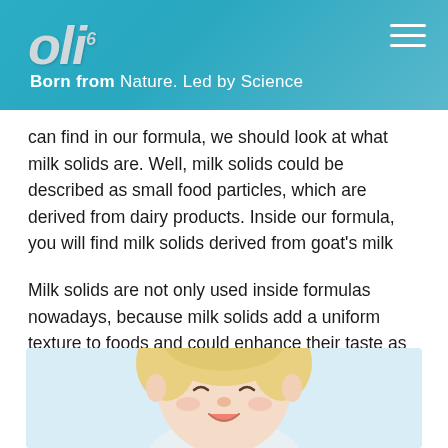Oli6 — Born from Nature. Led by Science
can find in our formula, we should look at what milk solids are. Well, milk solids could be described as small food particles, which are derived from dairy products. Inside our formula, you will find milk solids derived from goat's milk
Milk solids are not only used inside formulas nowadays, because milk solids add a uniform texture to foods and could enhance their taste as well. Therefore, you will also find milk solids inside cheese, chocolate and even yoghurt.
[Figure (photo): Smiling blonde toddler/baby, close-up face, light background]